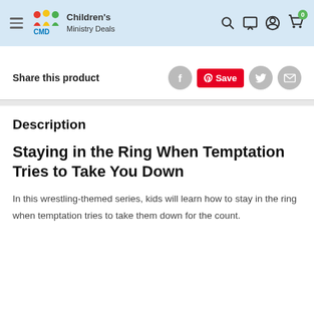Children's Ministry Deals — navigation header
Share this product
Description
Staying in the Ring When Temptation Tries to Take You Down
In this wrestling-themed series, kids will learn how to stay in the ring when temptation tries to take them down for the count.